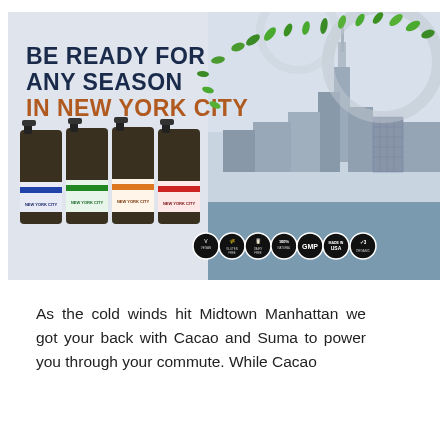[Figure (photo): Advertisement image for New York City supplement drops. Shows four dropper bottles with colored city skyline labels (blue, green, orange, red), text 'BE READY FOR ANY SEASON IN NEW YORK CITY', NYC skyline photo with Empire State Building, green leaf decoration, and certification badges (Vegan, Gluten Free, Dairy Free, 100% Natural, GMP, Made in USA, organic).]
As the cold winds hit Midtown Manhattan we got your back with Cacao and Suma to power you through your commute. While Cacao